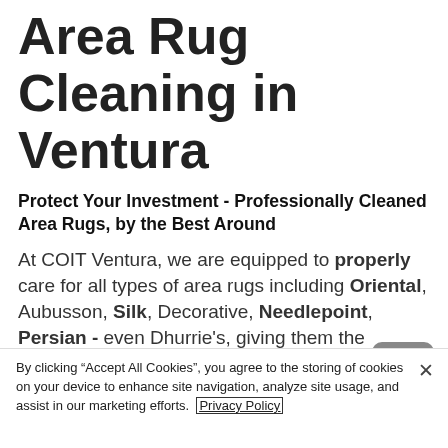Area Rug Cleaning in Ventura
Protect Your Investment - Professionally Cleaned Area Rugs, by the Best Around
At COIT Ventura, we are equipped to properly care for all types of area rugs including Oriental, Aubusson, Silk, Decorative, Needlepoint, Persian - even Dhurrie's, giving them the specializedcare and attention they deserve.
By clicking “Accept All Cookies”, you agree to the storing of cookies on your device to enhance site navigation, analyze site usage, and assist in our marketing efforts. Privacy Policy